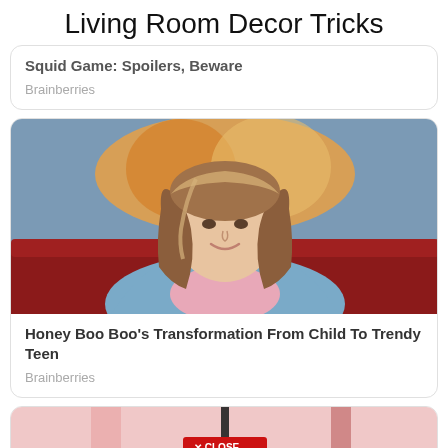Living Room Decor Tricks
Squid Game: Spoilers, Beware
Brainberries
[Figure (photo): Young woman with long brown and blonde highlighted hair sitting on a red couch, wearing a light blue denim jacket over a pink shirt, with colorful art on the wall behind her]
Honey Boo Boo’s Transformation From Child To Trendy Teen
Brainberries
[Figure (photo): Partial view of a image at bottom with pink background and a red CLOSE button overlay]